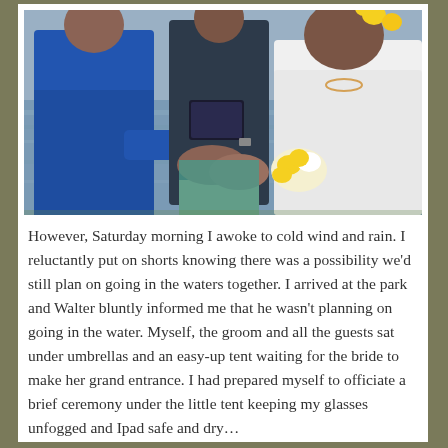[Figure (photo): A wedding ceremony scene outdoors near water. A man in a blue shirt and a woman in a white top wearing yellow flowers in her hair are holding hands. An officiant in a dark shirt holds a tablet/iPad. A person in a teal outfit is partially visible in the background.]
However, Saturday morning I awoke to cold wind and rain. I reluctantly put on shorts knowing there was a possibility we'd still plan on going in the waters together. I arrived at the park and Walter bluntly informed me that he wasn't planning on going in the water. Myself, the groom and all the guests sat under umbrellas and an easy-up tent waiting for the bride to make her grand entrance. I had prepared myself to officiate a brief ceremony under the little tent keeping my glasses unfogged and Ipad safe and dry…